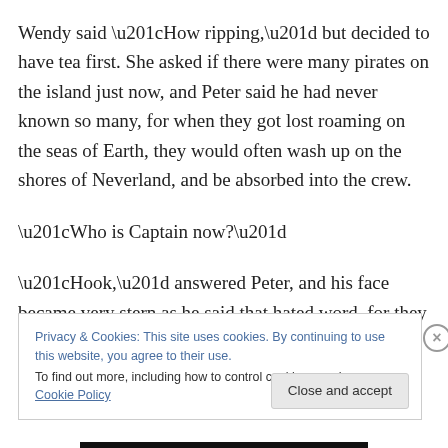Wendy said “How ripping,” but decided to have tea first. She asked if there were many pirates on the island just now, and Peter said he had never known so many, for when they got lost roaming on the seas of Earth, they would often wash up on the shores of Neverland, and be absorbed into the crew.
“Who is Captain now?”
“Hook,” answered Peter, and his face became very stern as he said that hated word, for they were sworn enemies.
Privacy & Cookies: This site uses cookies. By continuing to use this website, you agree to their use.
To find out more, including how to control cookies, see here: Cookie Policy
Close and accept